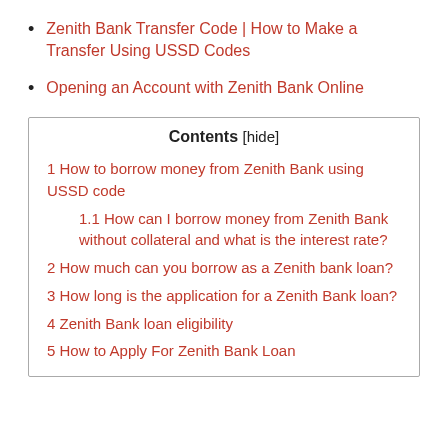Zenith Bank Transfer Code | How to Make a Transfer Using USSD Codes
Opening an Account with Zenith Bank Online
Contents [hide]
1 How to borrow money from Zenith Bank using USSD code
1.1 How can I borrow money from Zenith Bank without collateral and what is the interest rate?
2 How much can you borrow as a Zenith bank loan?
3 How long is the application for a Zenith Bank loan?
4 Zenith Bank loan eligibility
5 How to Apply For Zenith Bank Loan